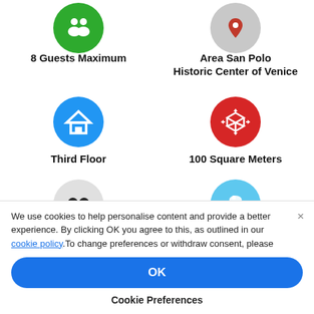[Figure (infographic): Green circle icon with two silhouette people figures]
8 Guests Maximum
[Figure (infographic): Gray circle icon with map pin / location marker]
Area San Polo
Historic Center of Venice
[Figure (infographic): Blue circle icon with house/home outline]
Third Floor
[Figure (infographic): Red circle icon with 3D cube/box shape with arrows]
100 Square Meters
[Figure (infographic): Light gray circle icon with two bed/pillow shapes]
3 Bedrooms:
[Figure (infographic): Light blue circle icon with shower head spraying water]
2 Bathrooms
We use cookies to help personalise content and provide a better experience. By clicking OK you agree to this, as outlined in our cookie policy.To change preferences or withdraw consent, please
OK
Cookie Preferences